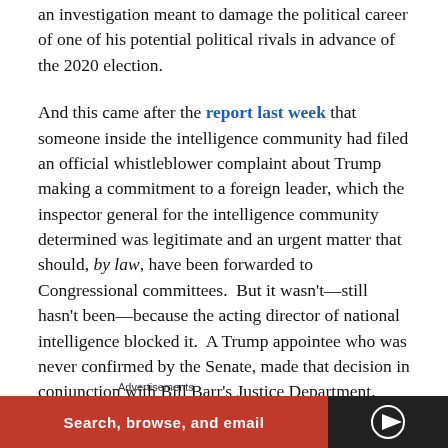an investigation meant to damage the political career of one of his potential political rivals in advance of the 2020 election.
And this came after the report last week that someone inside the intelligence community had filed an official whistleblower complaint about Trump making a commitment to a foreign leader, which the inspector general for the intelligence community determined was legitimate and an urgent matter that should, by law, have been forwarded to Congressional committees.  But it wasn't—still hasn't been—because the acting director of national intelligence blocked it.  A Trump appointee who was never confirmed by the Senate, made that decision in conjunction with Bill Barr's Justice Department.
Advertisements
[Figure (other): Advertisement banner with orange/red background reading 'Search, browse, and email' on left and dark panel on right]